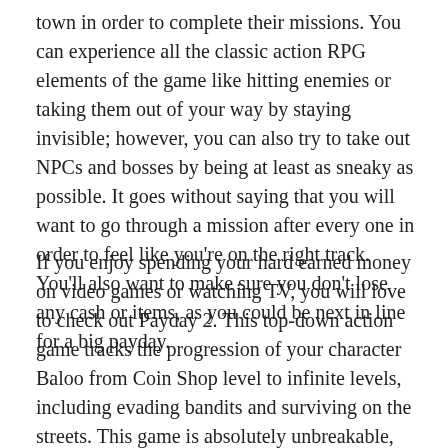town in order to complete their missions. You can experience all the classic action RPG elements of the game like hitting enemies or taking them out of your way by staying invisible; however, you can also try to take out NPCs and bosses by being at least as sneaky as possible. It goes without saying that you will want to go through a mission after every one in order to feel like you're on the right track. You'll also want to make sure you don't lose any cash or items, as you could be next in line for a big payday.
If you enjoy spending your hard earned money on video games or watching TV, you will love to check out Payday 2. This top-down action game tracks the progression of your character Baloo from Coin Shop level to infinite levels, including evading bandits and surviving on the streets. This game is absolutely unbreakable, but its protagonist has a way with words that will make you cry.